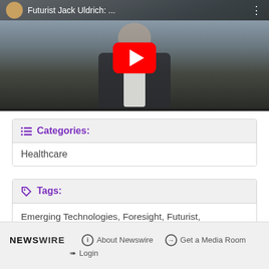[Figure (screenshot): YouTube video thumbnail showing a man in a dark suit, with the title 'Futurist Jack Uldrich: ...' in the YouTube top bar and a red YouTube play button in the center.]
Categories:
Healthcare
Tags:
Emerging Technologies, Foresight, Futurist, Healthcare, Insurance, Jack Uldrich, Keynote, New York, Telemedicine, Trends, Unlearning
NEWSWIRE  About Newswire  Get a Media Room  Login